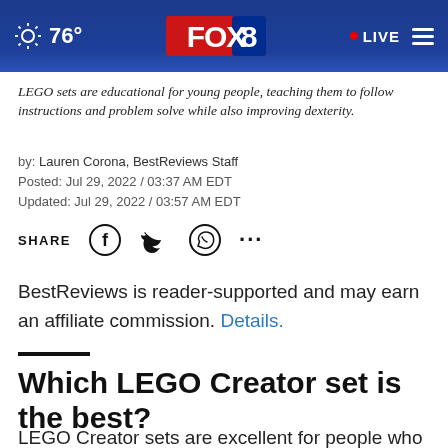76° FOX 8 • LIVE
LEGO sets are educational for young people, teaching them to follow instructions and problem solve while also improving dexterity.
by: Lauren Corona, BestReviews Staff
Posted: Jul 29, 2022 / 03:37 AM EDT
Updated: Jul 29, 2022 / 03:57 AM EDT
SHARE [Facebook] [Twitter] [WhatsApp] [...]
BestReviews is reader-supported and may earn an affiliate commission. Details.
Which LEGO Creator set is the best?
LEGO Creator sets are excellent for people who love